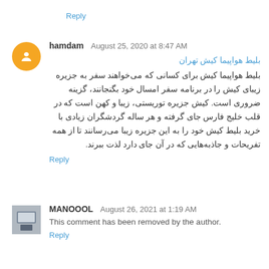Reply
hamdam  August 25, 2020 at 8:47 AM
بلیط هواپیما کیش تهران
بلیط هواپیما کیش برای کسانی که می‌خواهند سفر به جزیره زیبای کیش را در برنامه سفر امسال خود بگنجانند، گزینه ضروری است. کیش جزیره توریستی، زیبا و کهن است که در قلب خلیج فارس جای گرفته و هر ساله گردشگران زیادی با خرید بلیط کیش خود را به این جزیره زیبا می‌رسانند تا از همه تفریحات و جاذبه‌هایی که در آن جای دارد لذت ببرند.
Reply
MANOOOL  August 26, 2021 at 1:19 AM
This comment has been removed by the author.
Reply